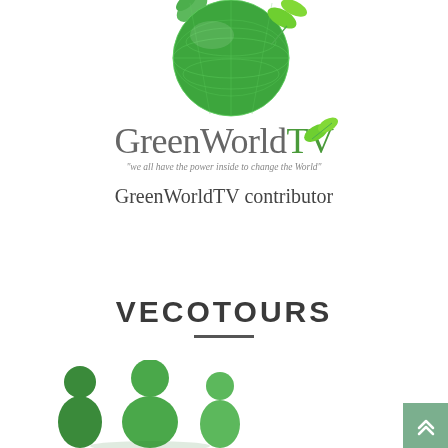[Figure (logo): GreenWorldTV logo: green globe with leaf on top, brand name GreenWorldTV in serif font with green leaf accent, tagline below in italic]
GreenWorldTV contributor
VECOTOURS
[Figure (illustration): Green icon illustration of three people/group figures in green color]
[Figure (illustration): Teal scroll-to-top button with double chevron arrow in bottom right corner]